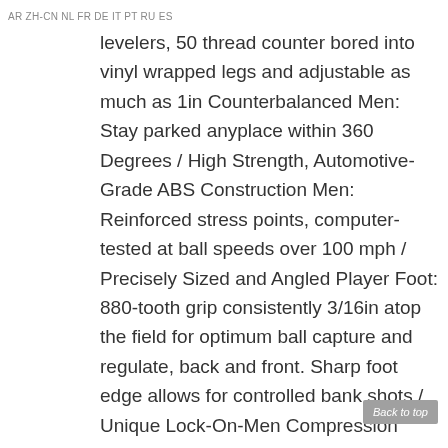AR ZH-CN NL FR DE IT PT RU ES
levelers, 50 thread counter bored into vinyl wrapped legs and adjustable as much as 1in Counterbalanced Men: Stay parked anyplace within 360 Degrees / High Strength, Automotive-Grade ABS Construction Men: Reinforced stress points, computer-tested at ball speeds over 100 mph / Precisely Sized and Angled Player Foot: 880-tooth grip consistently 3/16in atop the field for optimum ball capture and regulate, back and front. Sharp foot edge allows for controlled bank shots / Unique Lock-On-Men Compression Bumpers: